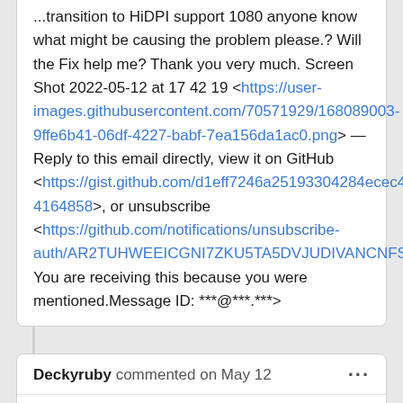...transition to HiDPI support 1080 anyone know what might be causing the problem please.? Will the Fix help me? Thank you very much. Screen Shot 2022-05-12 at 17 42 19 <https://user-images.githubusercontent.com/70571929/168089003-9ffe6b41-06df-4227-babf-7ea156da1ac0.png> — Reply to this email directly, view it on GitHub <https://gist.github.com/d1eff7246a25193304284ecec40445b0#gistcomment-4164858>, or unsubscribe <https://github.com/notifications/unsubscribe-auth/AR2TUHWEEICGNI7ZKU5TA5DVJUDIVANCNFSM4HJLZ7CQ>. You are receiving this because you were mentioned.Message ID: ***@***.***>
Deckyruby commented on May 12
As far as I know once you disable the Radeon GPU the external monitor will no longer work. At least it never did for me.